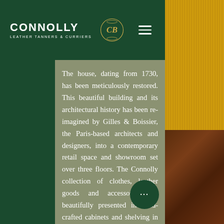CONNOLLY LEATHER TANNERS & CURRIERS
The house, dating from 1730, has been meticulously restored. This beautiful building and its architectural history has been re-imagined by Gilles & Boissier, the Paris-based architects and designers, into a contemporary retail space and showroom set over three floors. The Connolly collection of clothes, leather goods and accessories are beautifully presented in hand-crafted cabinets and shelving in fumed oak and hornbeam, surrounded by elegant wood panelling.
[Figure (photo): Right side: yellow/mustard ribbed fabric texture at top, brown leather bag at bottom]